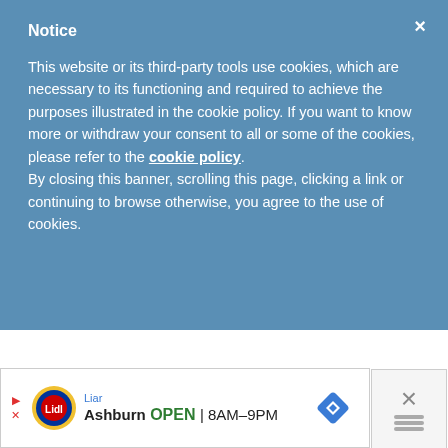Notice
This website or its third-party tools use cookies, which are necessary to its functioning and required to achieve the purposes illustrated in the cookie policy. If you want to know more or withdraw your consent to all or some of the cookies, please refer to the cookie policy. By closing this banner, scrolling this page, clicking a link or continuing to browse otherwise, you agree to the use of cookies.
Hi Mel. I'm so sorry you're having issues with this. Could you email me a picture of your work so I can see what's happening? My email is handsoccupied-at-gmail-dot-com
[Figure (screenshot): Lidl advertisement banner: Ashburn OPEN 8AM-9PM with navigation icon and close button]